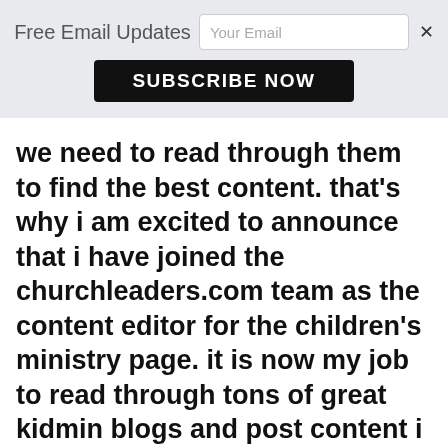Free Email Updates   [Your Email input]   ×
SUBSCRIBE NOW
we need to read through them to find the best content. that's why i am excited to announce that i have joined the churchleaders.com team as the content editor for the children's ministry page. it is now my job to read through tons of great kidmin blogs and post content i think would be most helpful to those of us in the kidmin community. it has already proven to be beneficial to me as i have learned so much and even